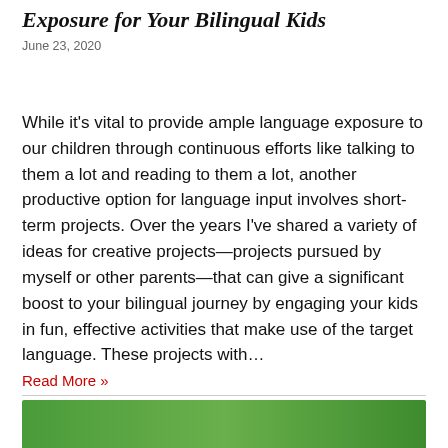Exposure for Your Bilingual Kids
June 23, 2020
While it's vital to provide ample language exposure to our children through continuous efforts like talking to them a lot and reading to them a lot, another productive option for language input involves short-term projects. Over the years I've shared a variety of ideas for creative projects—projects pursued by myself or other parents—that can give a significant boost to your bilingual journey by engaging your kids in fun, effective activities that make use of the target language. These projects with…
Read More »